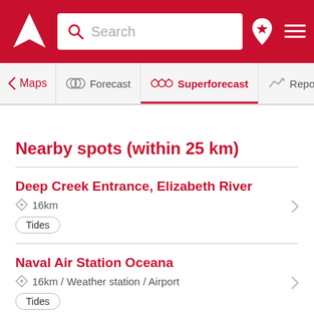[Figure (screenshot): Red app header bar with logo, search box, location pin icon, and hamburger menu]
[Figure (screenshot): Navigation tab bar with Maps, Forecast, Superforecast (active, red underline), and Report tabs]
Nearby spots (within 25 km)
Deep Creek Entrance, Elizabeth River
16km
Tides
Naval Air Station Oceana
16km / Weather station / Airport
Tides
Money Point / Chesapeake